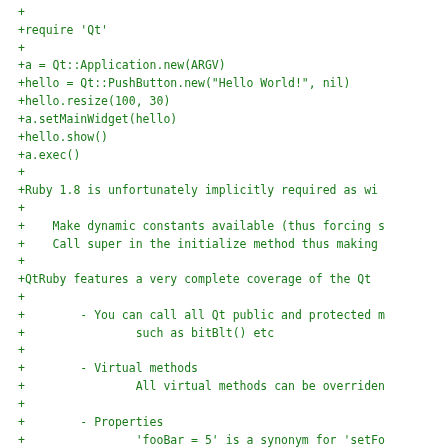+
+require 'Qt'
+
+a = Qt::Application.new(ARGV)
+hello = Qt::PushButton.new("Hello World!", nil)
+hello.resize(100, 30)
+a.setMainWidget(hello)
+hello.show()
+a.exec()
+
+Ruby 1.8 is unfortunately implicitly required as wi
+
+    Make dynamic constants available (thus forcing s
+    Call super in the initialize method thus making
+
+QtRuby features a very complete coverage of the Qt
+
+        - You can call all Qt public and protected m
+                such as bitBlt() etc
+
+        - Virtual methods
+                All virtual methods can be overriden
+
+        - Properties
+                'fooBar = 5' is a synonym for 'setFo
+
+        - Predicates
+                'if foo?' is a synonym for 'if isFoo
+
+        - Use underscore naming for method names ins